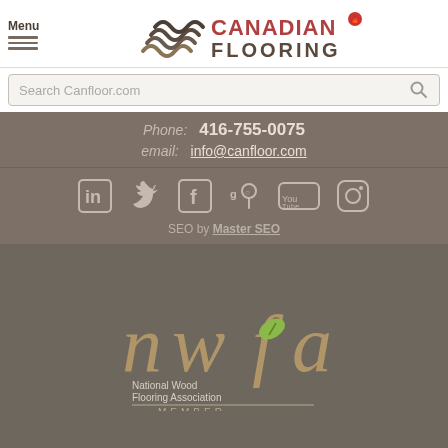Menu | Canadian Flooring logo
Search Canfloor.com
Phone: 416-755-0075
email: info@canfloor.com
[Figure (infographic): Social media icons: LinkedIn, Twitter, Facebook, Google Maps, YouTube, Instagram]
SEO by Master SEO
[Figure (logo): NWFA - National Wood Flooring Association MEMBER logo]